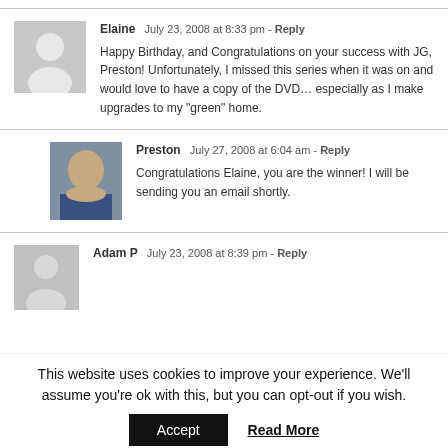Elaine  July 23, 2008 at 8:33 pm - Reply
Happy Birthday, and Congratulations on your success with JG, Preston! Unfortunately, I missed this series when it was on and would love to have a copy of the DVD... especially as I make upgrades to my "green" home.
Preston  July 27, 2008 at 6:04 am - Reply
Congratulations Elaine, you are the winner! I will be sending you an email shortly.
Adam P  July 23, 2008 at 8:39 pm - Reply
This website uses cookies to improve your experience. We'll assume you're ok with this, but you can opt-out if you wish.
Accept  Read More